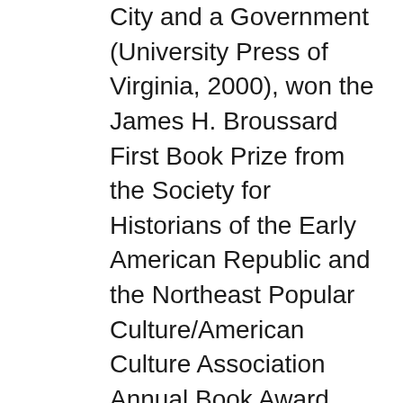City and a Government (University Press of Virginia, 2000), won the James H. Broussard First Book Prize from the Society for Historians of the Early American Republic and the Northeast Popular Culture/American Culture Association Annual Book Award. Her political biography, A Perfect Union: Dolley Madison and the Creation of the American Nation (Henry Holt, 2006), was a finalist for the George Washington Book Prize. In 2012, she published Dolley Madison: The Problem of National Unity (Westview Press) and The Queen of America: Mary Cutts's Life of Dolley Madison (University of Virginia Press). President Obama appointed Allgor to a presidential commission, The James Madison Memorial Fellowship Foundation. Catherine Allgor also serves on the Board of Directors of the National